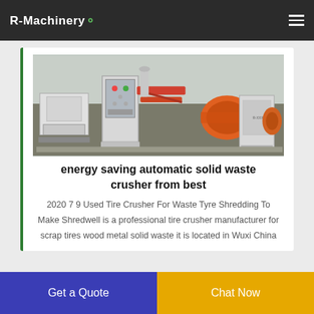R-Machinery
[Figure (photo): Industrial solid waste crusher machine in a factory setting, showing white and orange equipment components including a control panel, conveyor, and shredder unit]
energy saving automatic solid waste crusher from best
2020 7 9 Used Tire Crusher For Waste Tyre Shredding To Make Shredwell is a professional tire crusher manufacturer for scrap tires wood metal solid waste it is located in Wuxi China
Get a Quote  Chat Now